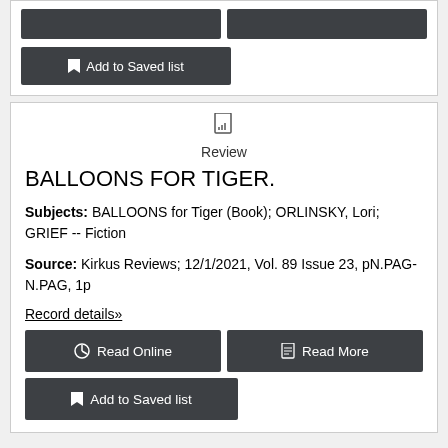[Figure (screenshot): Top card partial showing two dark placeholder buttons and an Add to Saved list button]
Review
BALLOONS FOR TIGER.
Subjects: BALLOONS for Tiger (Book); ORLINSKY, Lori; GRIEF -- Fiction
Source: Kirkus Reviews; 12/1/2021, Vol. 89 Issue 23, pN.PAG-N.PAG, 1p
Record details»
Read Online | Read More | Add to Saved list